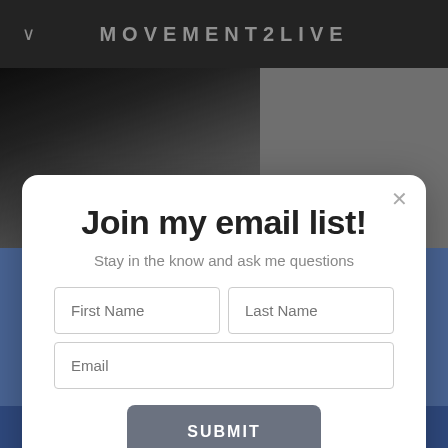MOVEMENT2LIVE
[Figure (photo): Background photo showing a person in fitness/casual clothing, partially visible, with gray background on the right side]
Join my email list!
Stay in the know and ask me questions
First Name  Last Name  Email  SUBMIT
STRENGTH AND CONDITIONING
POWERED BY weebly